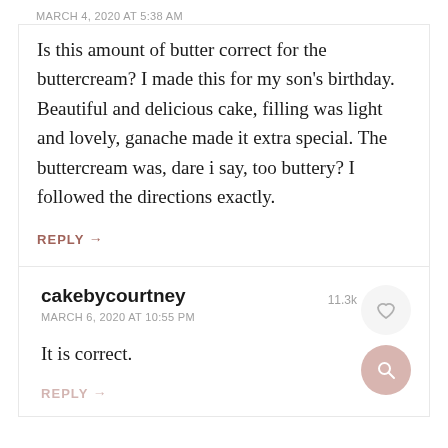MARCH 4, 2020 AT 5:38 AM
Is this amount of butter correct for the buttercream? I made this for my son's birthday. Beautiful and delicious cake, filling was light and lovely, ganache made it extra special. The buttercream was, dare i say, too buttery? I followed the directions exactly.
REPLY →
cakebycourtney
MARCH 6, 2020 AT 10:55 PM
It is correct.
REPLY →